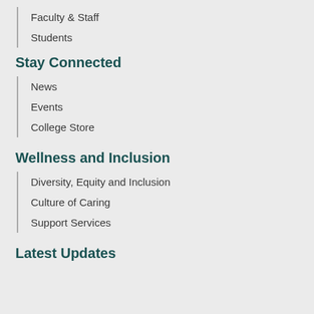Faculty & Staff
Students
Stay Connected
News
Events
College Store
Wellness and Inclusion
Diversity, Equity and Inclusion
Culture of Caring
Support Services
Latest Updates